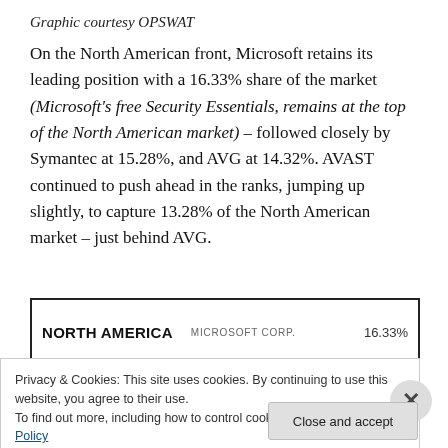Graphic courtesy OPSWAT
On the North American front, Microsoft retains its leading position with a 16.33% share of the market (Microsoft's free Security Essentials, remains at the top of the North American market) – followed closely by Symantec at 15.28%, and AVG at 14.32%. AVAST continued to push ahead in the ranks, jumping up slightly, to capture 13.28% of the North American market – just behind AVG.
[Figure (infographic): North America antivirus market share chart showing MICROSOFT CORP. at 16.33%]
Privacy & Cookies: This site uses cookies. By continuing to use this website, you agree to their use. To find out more, including how to control cookies, see here: Cookie Policy